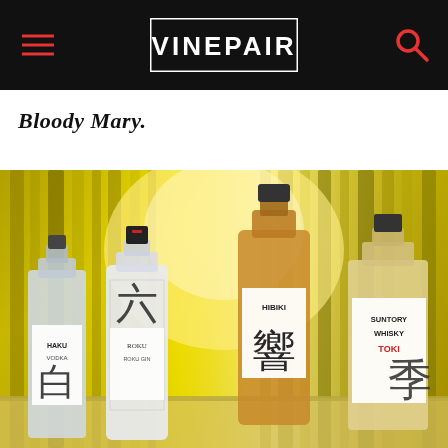VINEPAIR
Bloody Mary.
[Figure (photo): Four Japanese spirits bottles (Haku Vodka, Roku Gin, Hibiki Japanese Whisky, Suntory Whisky Toki) arranged in front of a bright bamboo forest background]